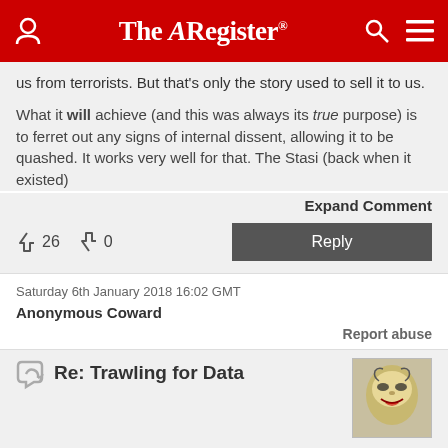The Register
us from terrorists. But that's only the story used to sell it to us.
What it will achieve (and this was always its true purpose) is to ferret out any signs of internal dissent, allowing it to be quashed. It works very well for that. The Stasi (back when it existed)
Expand Comment
26 upvotes, 0 downvotes, Reply
Saturday 6th January 2018 16:02 GMT
Anonymous Coward
Report abuse
Re: Trawling for Data
"Some common sense there, maybe one day the WORLD will wake up to the fact that trawling everybody's data for every detail is an